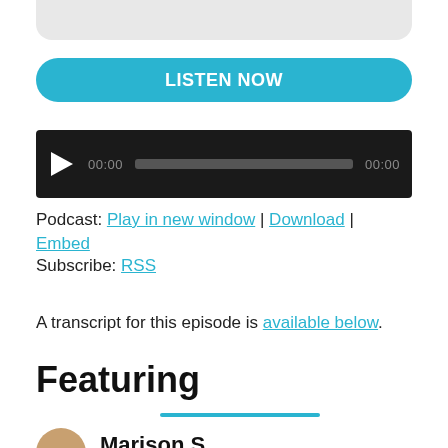[Figure (other): Partial rounded gray card visible at top of page]
LISTEN NOW
[Figure (other): Audio player with play button, progress bar, and timestamps showing 00:00]
Podcast: Play in new window | Download | Embed
Subscribe: RSS
A transcript for this episode is available below.
Featuring
[Figure (other): Partial circular profile photo at bottom left, partially cut off]
Marison S...